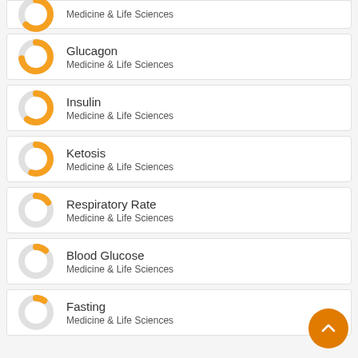Medicine & Life Sciences
Glucagon
Medicine & Life Sciences
Insulin
Medicine & Life Sciences
Ketosis
Medicine & Life Sciences
Respiratory Rate
Medicine & Life Sciences
Blood Glucose
Medicine & Life Sciences
Fasting
Medicine & Life Sciences